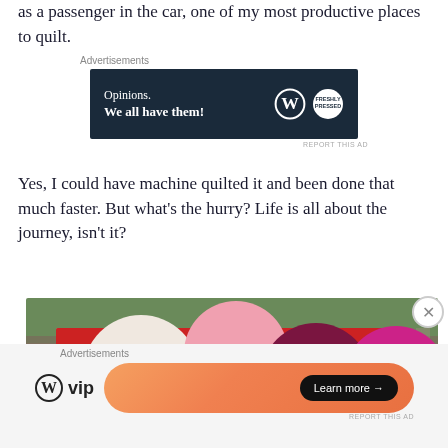as a passenger in the car, one of my most productive places to quilt.
[Figure (other): Advertisement banner: dark navy background with text 'Opinions. We all have them!' and WordPress logo with circular badge]
Yes, I could have machine quilted it and been done that much faster. But what's the hurry? Life is all about the journey, isn't it?
[Figure (photo): Colorful quilt draped over a wooden fence outdoors, featuring large overlapping circles in red, pink, white, magenta, maroon, orange, and purple on a red background, with green trees in the background]
[Figure (other): Advertisement banner: WordPress VIP logo on left, orange gradient banner on right with 'Learn more' button]